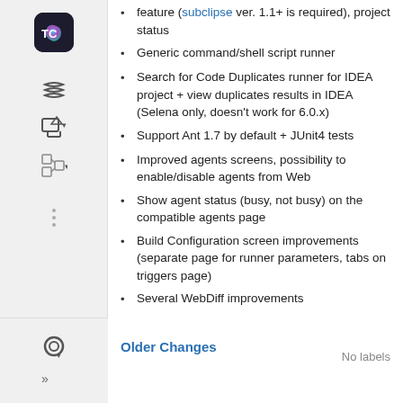feature (subclipse ver. 1.1+ is required), project status
Generic command/shell script runner
Search for Code Duplicates runner for IDEA project + view duplicates results in IDEA (Selena only, doesn't work for 6.0.x)
Support Ant 1.7 by default + JUnit4 tests
Improved agents screens, possibility to enable/disable agents from Web
Show agent status (busy, not busy) on the compatible agents page
Build Configuration screen improvements (separate page for runner parameters, tabs on triggers page)
Several WebDiff improvements
Older Changes
No labels